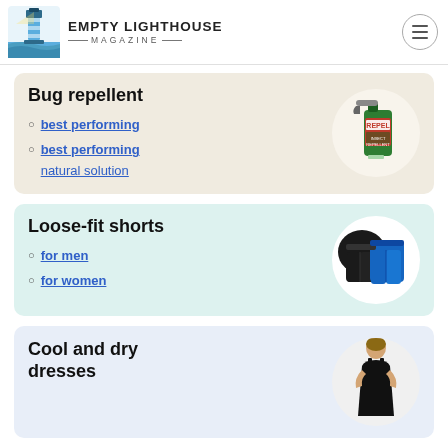EMPTY LIGHTHOUSE MAGAZINE
Bug repellent
best performing
best performing natural solution
[Figure (photo): Bug repellent spray bottle (Repel brand) in circular white frame]
Loose-fit shorts
for men
for women
[Figure (photo): Black and blue loose-fit shorts in circular white frame]
Cool and dry dresses